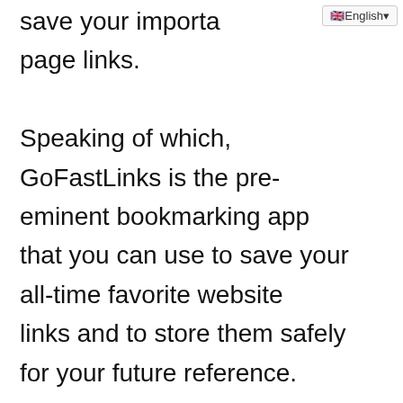English
save your importa... page links.

Speaking of which, GoFastLinks is the pre-eminent bookmarking app that you can use to save your all-time favorite website links and to store them safely for your future reference.

This is why GoFastLinks is your best bet at bookmarks and